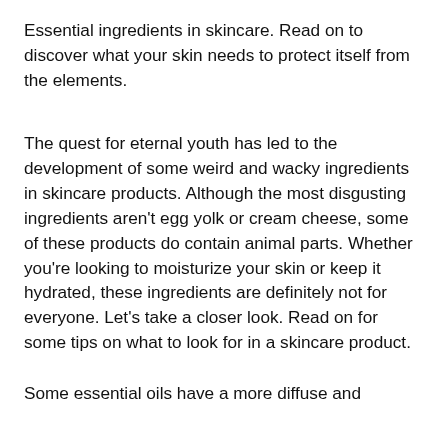Essential ingredients in skincare. Read on to discover what your skin needs to protect itself from the elements.
The quest for eternal youth has led to the development of some weird and wacky ingredients in skincare products. Although the most disgusting ingredients aren't egg yolk or cream cheese, some of these products do contain animal parts. Whether you're looking to moisturize your skin or keep it hydrated, these ingredients are definitely not for everyone. Let's take a closer look. Read on for some tips on what to look for in a skincare product.
Some essential oils have a more diffuse and